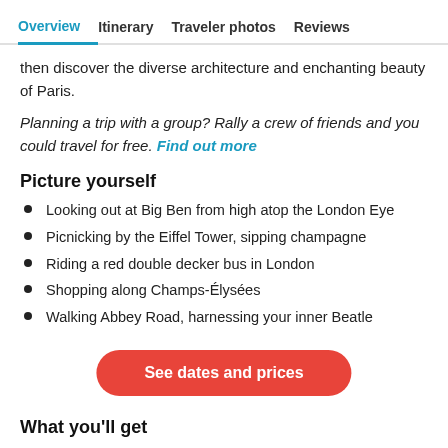Overview  Itinerary  Traveler photos  Reviews
then discover the diverse architecture and enchanting beauty of Paris.
Planning a trip with a group? Rally a crew of friends and you could travel for free. Find out more
Picture yourself
Looking out at Big Ben from high atop the London Eye
Picnicking by the Eiffel Tower, sipping champagne
Riding a red double decker bus in London
Shopping along Champs-Élysées
Walking Abbey Road, harnessing your inner Beatle
See dates and prices
What you'll get